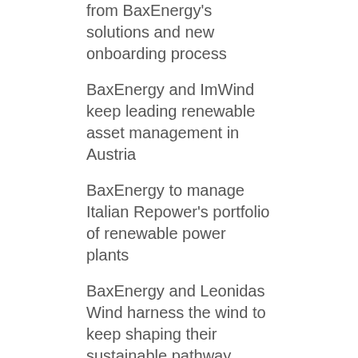from BaxEnergy's solutions and new onboarding process
BaxEnergy and ImWind keep leading renewable asset management in Austria
BaxEnergy to manage Italian Repower's portfolio of renewable power plants
BaxEnergy and Leonidas Wind harness the wind to keep shaping their sustainable pathway
Categories